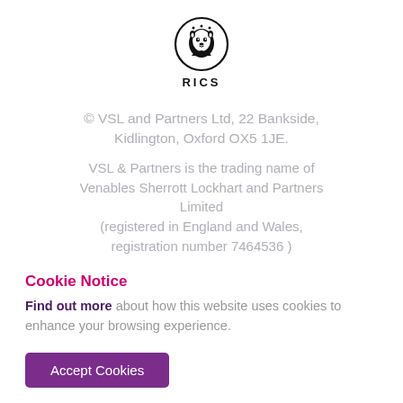[Figure (logo): RICS logo — black lion head in circle with 'RICS' text below]
© VSL and Partners Ltd, 22 Bankside, Kidlington, Oxford OX5 1JE.
VSL & Partners is the trading name of Venables Sherrott Lockhart and Partners Limited (registered in England and Wales, registration number 7464536 )
Cookie Notice
Find out more about how this website uses cookies to enhance your browsing experience.
Accept Cookies